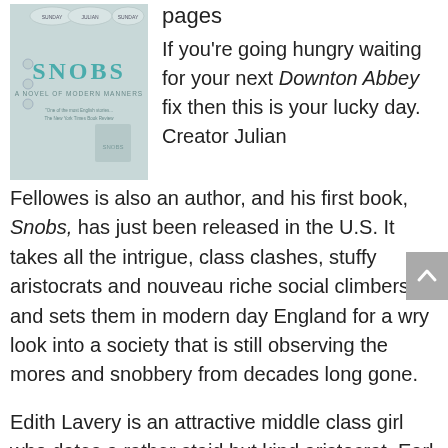[Figure (photo): Book cover of 'Snobs: A Novel of Modern Manners' by Julian Fellowes]
pages
If you're going hungry waiting for your next Downton Abbey fix then this is your lucky day. Creator Julian Fellowes is also an author, and his first book, Snobs, has just been released in the U.S. It takes all the intrigue, class clashes, stuffy aristocrats and nouveau riche social climbers and sets them in modern day England for a wry look into a society that is still observing the mores and snobbery from decades long gone.
Edith Lavery is an attractive middle class girl who dates a rather staid but kind aristocrat, Earl Broughton. A taste of his world makes her decide that boring is worth a life of luxury so she sets out to marry him. It is only after winning the prize that she finds she is neither happy or satisfied, so she